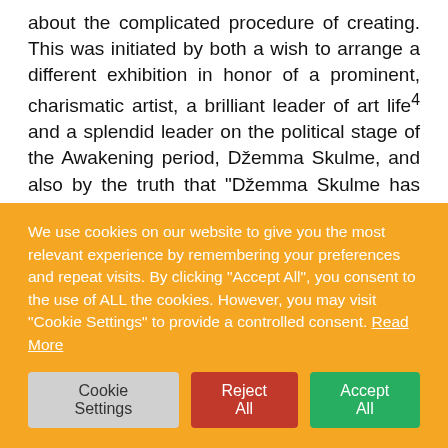about the complicated procedure of creating. This was initiated by both a wish to arrange a different exhibition in honor of a prominent, charismatic artist, a brilliant leader of art life4 and a splendid leader on the political stage of the Awakening period, Džemma Skulme, and also by the truth that "Džemma Skulme has always been among the recognized, but seldom, very seldom, has been understood" 5.
When in the 50-s Džemma Skulme became known in art
We use cookies on our website to give you the most relevant experience by remembering your preferences and repeat visits. By clicking "Accept All", you consent to the use of ALL the cookies. However, you may visit "Cookie Settings" to provide a controlled consent. Read More